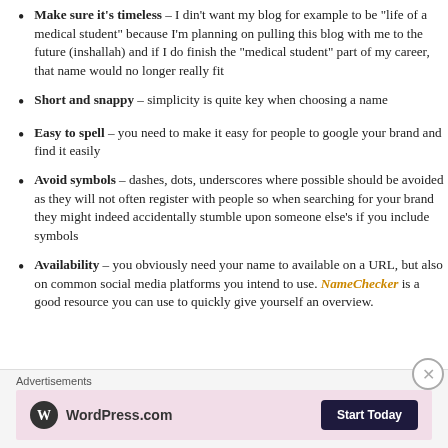Make sure it's timeless – I din't want my blog for example to be "life of a medical student" because I'm planning on pulling this blog with me to the future (inshallah) and if I do finish the "medical student" part of my career, that name would no longer really fit
Short and snappy – simplicity is quite key when choosing a name
Easy to spell – you need to make it easy for people to google your brand and find it easily
Avoid symbols – dashes, dots, underscores where possible should be avoided as they will not often register with people so when searching for your brand they might indeed accidentally stumble upon someone else's if you include symbols
Availability – you obviously need your name to available on a URL, but also on common social media platforms you intend to use. NameChecker is a good resource you can use to quickly give yourself an overview.
Advertisements
[Figure (other): WordPress.com advertisement banner with pink background, WordPress logo on left and 'Start Today' button on right]